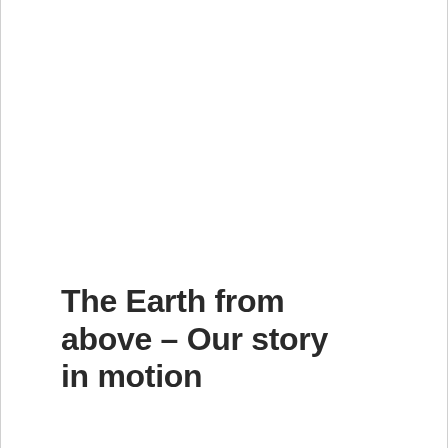The Earth from above – Our story in motion